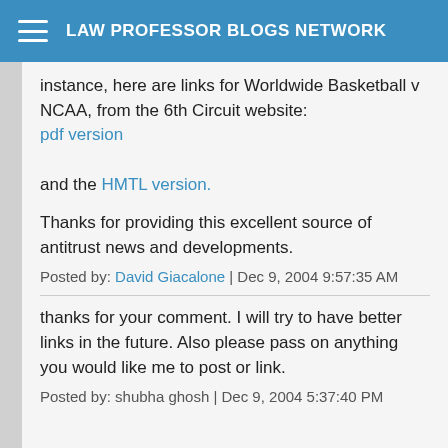LAW PROFESSOR BLOGS NETWORK
instance, here are links for Worldwide Basketball v NCAA, from the 6th Circuit website:
pdf version

and the HMTL version.
Thanks for providing this excellent source of antitrust news and developments.
Posted by: David Giacalone | Dec 9, 2004 9:57:35 AM
thanks for your comment. I will try to have better links in the future. Also please pass on anything you would like me to post or link.
Posted by: shubha ghosh | Dec 9, 2004 5:37:40 PM